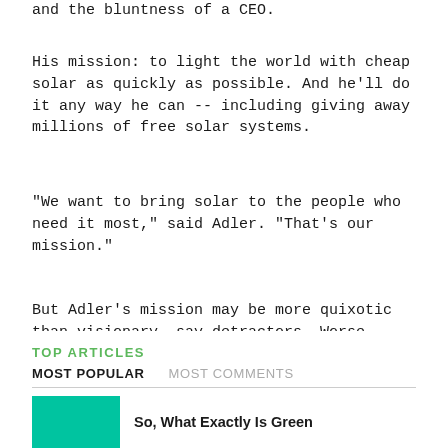and the bluntness of a CEO.
His mission: to light the world with cheap solar as quickly as possible. And he'll do it any way he can -- including giving away millions of free solar systems.
"We want to bring solar to the people who need it most," said Adler. "That's our mission."
But Adler's mission may be more quixotic than visionary, say detractors. Worse, they argue, it may be damaging to the burgeoning off-grid solar market.
TOP ARTICLES
MOST POPULAR	MOST COMMENTS
So, What Exactly Is Green